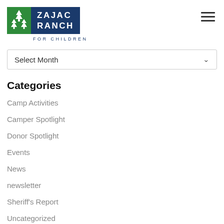[Figure (logo): Zajac Ranch For Children logo with green square containing white tree icons and dark blue text block with ZAJAC RANCH, and 'FOR CHILDREN' text below]
Select Month
Categories
Camp Activities
Camper Spotlight
Donor Spotlight
Events
News
newsletter
Sheriff's Report
Uncategorized